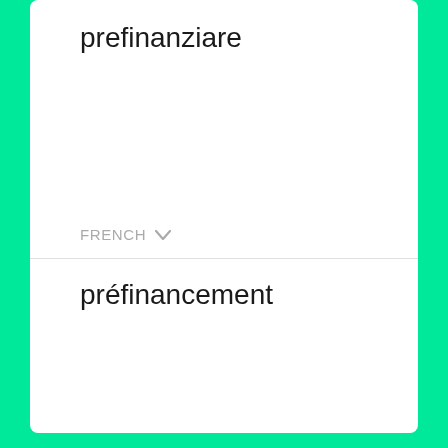prefinanziare
FRENCH
préfinancement